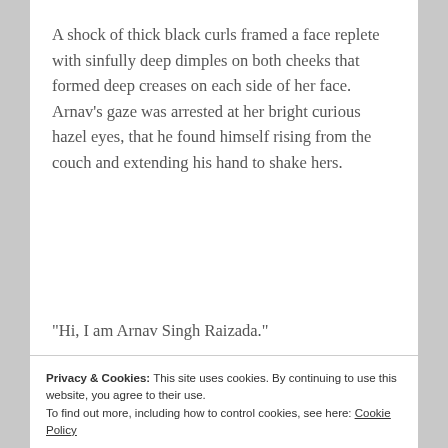A shock of thick black curls framed a face replete with sinfully deep dimples on both cheeks that formed deep creases on each side of her face. Arnav’s gaze was arrested at her bright curious hazel eyes, that he found himself rising from the couch and extending his hand to shake hers.
“Hi, I am Arnav Singh Raizada.”
Privacy & Cookies: This site uses cookies. By continuing to use this website, you agree to their use.
To find out more, including how to control cookies, see here: Cookie Policy